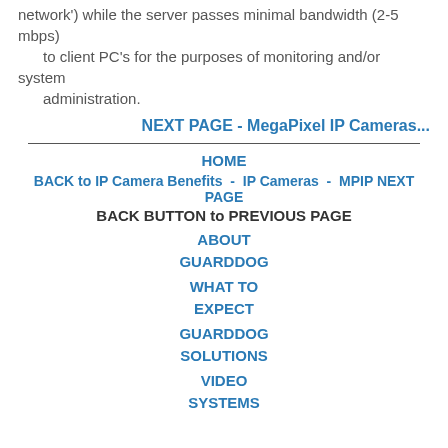network') while the server passes minimal bandwidth (2-5 mbps)
      to client PC's for the purposes of monitoring and/or system
      administration.
NEXT PAGE - MegaPixel IP Cameras...
HOME
BACK to IP Camera Benefits  -  IP Cameras  -  MPIP NEXT PAGE
BACK BUTTON to PREVIOUS PAGE
ABOUT GUARDDOG
WHAT TO EXPECT
GUARDDOG SOLUTIONS
VIDEO SYSTEMS